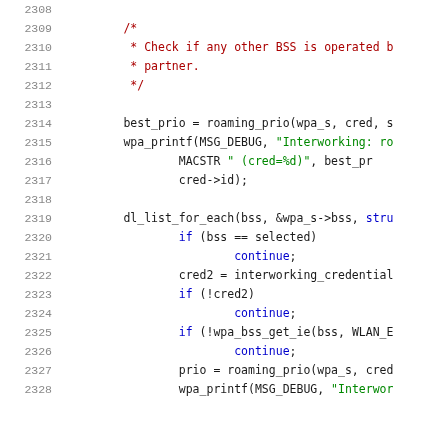[Figure (screenshot): Source code listing lines 2308-2328 in C, showing code with syntax highlighting: line numbers in grey on left, comments in dark red, string literals in green, keywords like continue in blue, and regular code in dark/black.]